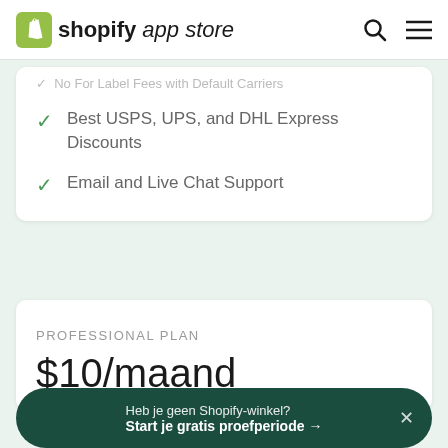shopify app store
No For Label Fees with Default Carriers
Best USPS, UPS, and DHL Express Discounts
Email and Live Chat Support
PROFESSIONAL PLAN
$10/maand
Heb je geen Shopify-winkel? Start je gratis proefperiode →